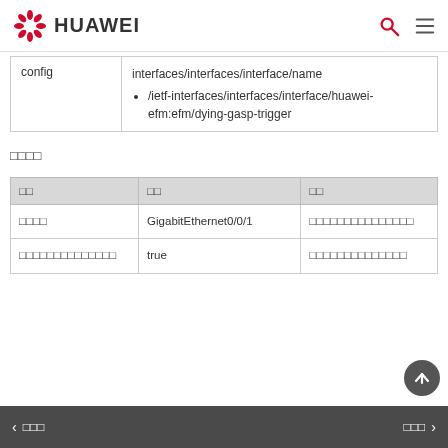HUAWEI
| config | interfaces/interfaces/interface/name
/ietf-interfaces/interfaces/interface/huawei-efm:efm/dying-gasp-trigger |
□□□□
| □□ | □□ | □□ |
| --- | --- | --- |
| □□□□ | GigabitEthernet0/0/1 | □□□□□□□□□□□□□□□ |
| □□□□□□□□□□□□□□ | true | □□□□□□□□□□□□□□ |
□□□   □□□